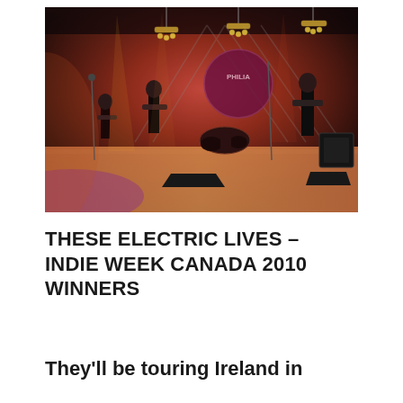[Figure (photo): A band performing on a concert stage with dramatic red and orange stage lighting, chandeliers hanging from the ceiling, and a backdrop with a logo. Three musicians visible on stage with electric guitars and a drum kit in the background.]
THESE ELECTRIC LIVES – INDIE WEEK CANADA 2010 WINNERS
They'll be touring Ireland in